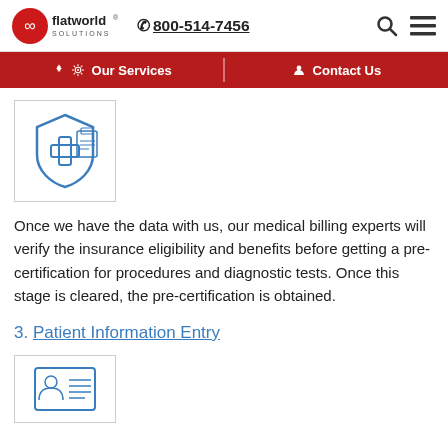flatworld solutions | 800-514-7456
[Figure (illustration): Insurance shield with medical cross and clipboard icon, blue line art]
Once we have the data with us, our medical billing experts will verify the insurance eligibility and benefits before getting a pre-certification for procedures and diagnostic tests. Once this stage is cleared, the pre-certification is obtained.
3. Patient Information Entry
[Figure (illustration): Patient information card/book icon with person silhouette, blue line art]